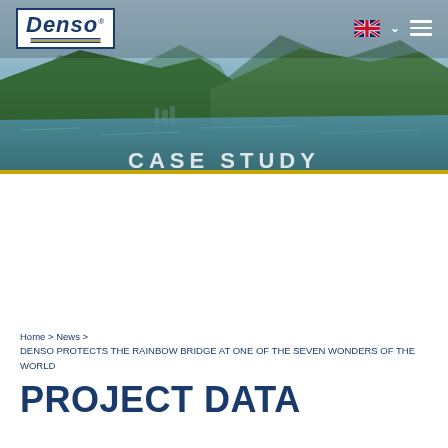[Figure (photo): Header banner showing a scenic mountain lake/bay landscape with green forested hills and calm blue water. Denso logo in white box (top left), UK flag with chevron and hamburger menu icons (top right). Partially visible 'CASE STUDY' text at bottom of image.]
Home > News > DENSO PROTECTS THE RAINBOW BRIDGE AT ONE OF THE SEVEN WONDERS OF THE WORLD
PROJECT DATA